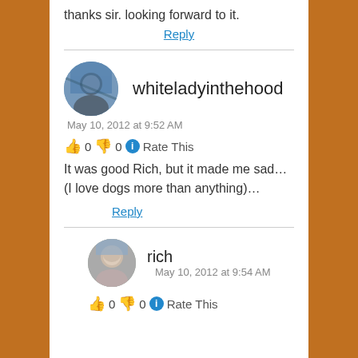thanks sir. looking forward to it.
Reply
whiteladyinthehood
May 10, 2012 at 9:52 AM
👍 0 👎 0 ℹ Rate This
It was good Rich, but it made me sad…(I love dogs more than anything)…
Reply
rich May 10, 2012 at 9:54 AM
👍 0 👎 0 ℹ Rate This